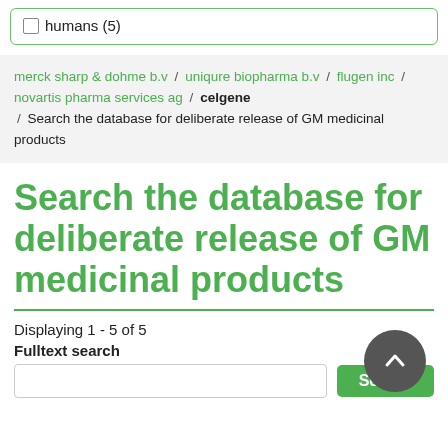humans (5)
merck sharp & dohme b.v / uniqure biopharma b.v / flugen inc / novartis pharma services ag / celgene / Search the database for deliberate release of GM medicinal products
Search the database for deliberate release of GM medicinal products
Displaying 1 - 5 of 5
Fulltext search